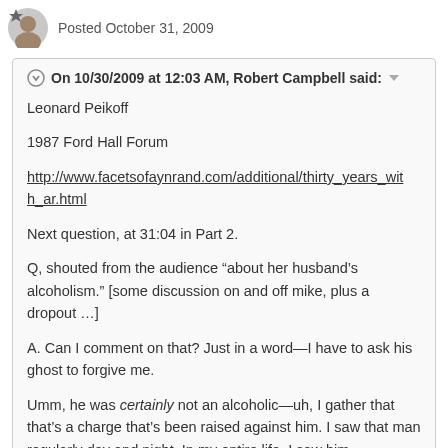Posted October 31, 2009
On 10/30/2009 at 12:03 AM, Robert Campbell said:
Leonard Peikoff
1987 Ford Hall Forum
http://www.facetsofaynrand.com/additional/thirty_years_with_ar.html
Next question, at 31:04 in Part 2.
Q, shouted from the audience “about her husband’s alcoholism.” [some discussion on and off mike, plus a dropout …]
A. Can I comment on that? Just in a word—I have to ask his ghost to forgive me.
Umm, he was certainly not an alcoholic—uh, I gather that that’s a charge that’s been raised against him. I saw that man regularly day and night. In my entire life, I saw him